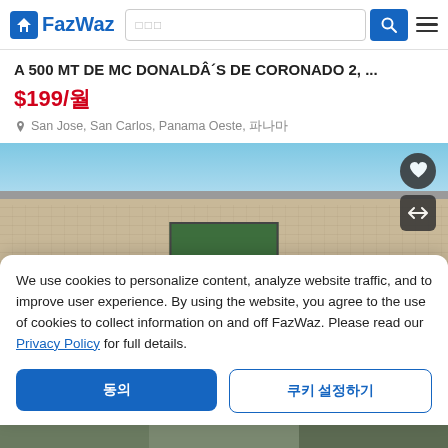FazWaz
A 500 MT DE MC DONALDÂ´S DE CORONADO 2, ...
$199/월
San Jose, San Carlos, Panama Oeste, 파나마
[Figure (photo): Exterior photo of a building with stone/concrete wall, metal roof, and a window opening. Blue sky visible above the roofline. Heart and toggle arrow buttons overlay in top right.]
We use cookies to personalize content, analyze website traffic, and to improve user experience. By using the website, you agree to the use of cookies to collect information on and off FazWaz. Please read our Privacy Policy for full details.
동의 | 쿠키 설정하기